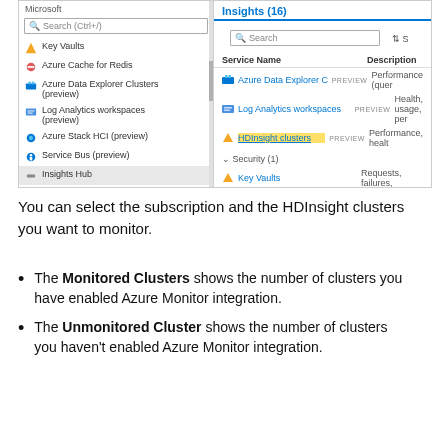[Figure (screenshot): Azure Monitor portal screenshot showing left navigation panel with Key Vaults, Azure Cache for Redis, Azure Data Explorer Clusters (preview), Log Analytics workspaces (preview), Azure Stack HCI (preview), Service Bus (preview), Insights Hub, Settings; and right Insights (16) panel with search, table of Service Name and Description showing Azure Data Explorer Clusters PREVIEW, Log Analytics workspaces PREVIEW, HDInsight clusters PREVIEW (highlighted), Security(1) Key Vaults, Monitor(1) sections]
You can select the subscription and the HDInsight clusters you want to monitor.
The Monitored Clusters shows the number of clusters you have enabled Azure Monitor integration.
The Unmonitored Cluster shows the number of clusters you haven't enabled Azure Monitor integration.